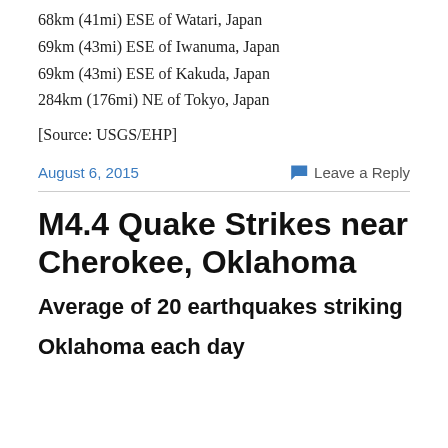68km (41mi) ESE of Watari, Japan
69km (43mi) ESE of Iwanuma, Japan
69km (43mi) ESE of Kakuda, Japan
284km (176mi) NE of Tokyo, Japan
[Source: USGS/EHP]
August 6, 2015
Leave a Reply
M4.4 Quake Strikes near Cherokee, Oklahoma
Average of 20 earthquakes striking
Oklahoma each day